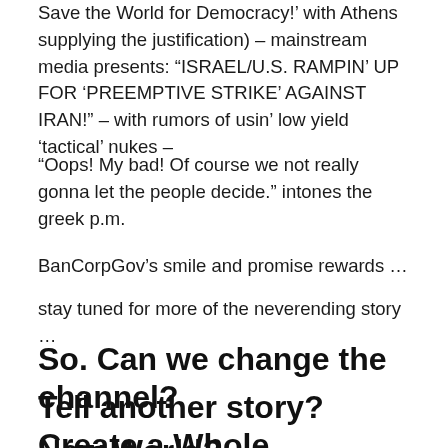Save the World for Democracy!' with Athens supplying the justification) – mainstream media presents: “ISRAEL/U.S. RAMPIN’ UP FOR ‘PREEMPTIVE STRIKE’ AGAINST IRAN!” – with rumors of usin’ low yield ‘tactical’ nukes –
“Oops! My bad! Of course we not really gonna let the people decide.” intones the greek p.m.
BanCorpGov’s smile and promise rewards …
stay tuned for more of the neverending story …
So. Can we change the channel?
Tell another story? Create a Whole
New World?